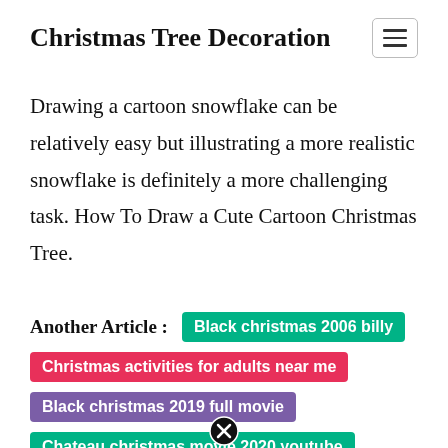Christmas Tree Decoration
Drawing a cartoon snowflake can be relatively easy but illustrating a more realistic snowflake is definitely a more challenging task. How To Draw a Cute Cartoon Christmas Tree.
Another Article : Black christmas 2006 billy
Christmas activities for adults near me
Black christmas 2019 full movie
Chateau christmas movie 2020 youtube
Black christmas 2019...